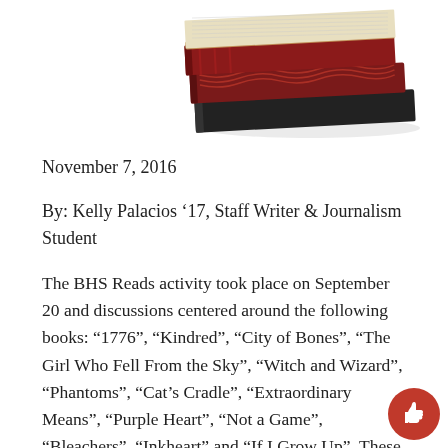[Figure (photo): Stack of books with red and dark covers, viewed from above at an angle, partially cropped at top of page]
November 7, 2016
By: Kelly Palacios '17, Staff Writer & Journalism Student
The BHS Reads activity took place on September 20 and discussions centered around the following books: “1776”, “Kindred”, “City of Bones”, “The Girl Who Fell From the Sky”, “Witch and Wizard”, “Phantoms”, “Cat’s Cradle”, “Extraordinary Means”, “Purple Heart”, “Not a Game”, “Bleachers”, “Inkheart” and “If I Grow Up”. These books were carefully chosen by the BHS Reads Committee last year and students were able to pick the novel they wanted to read over the summer. The BHS Reads Committee